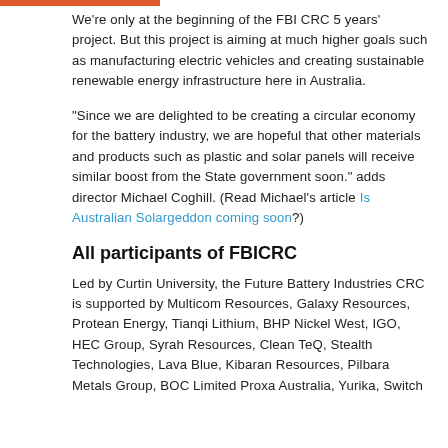We're only at the beginning of the FBI CRC 5 years' project. But this project is aiming at much higher goals such as manufacturing electric vehicles and creating sustainable renewable energy infrastructure here in Australia.
"Since we are delighted to be creating a circular economy for the battery industry, we are hopeful that other materials and products such as plastic and solar panels will receive similar boost from the State government soon." adds director Michael Coghill. (Read Michael's article Is Australian Solargeddon coming soon?)
All participants of FBICRC
Led by Curtin University, the Future Battery Industries CRC is supported by Multicom Resources, Galaxy Resources, Protean Energy, Tianqi Lithium, BHP Nickel West, IGO, HEC Group, Syrah Resources, Clean TeQ, Stealth Technologies, Lava Blue, Kibaran Resources, Pilbara Metals Group, BOC Limited Proxa Australia, Yurika, Switch